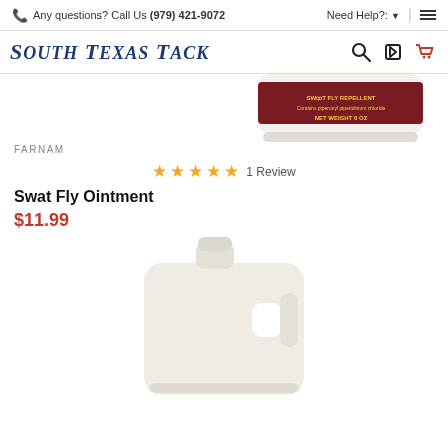Any questions? Call Us (979) 421-9072 | Need Help?: ☰
[Figure (logo): South Texas Tack logo with search, login, and cart icons]
[Figure (photo): Partial view of a Farnam Swat Fly Ointment jar, white container with dark red label showing NET WEIGHT 6 OZ]
FARNAM
★★★★★ 1 Review
Swat Fly Ointment
$11.99
[Figure (photo): White plastic gallon jug with handle and screw cap, product container partially cropped at bottom of page]